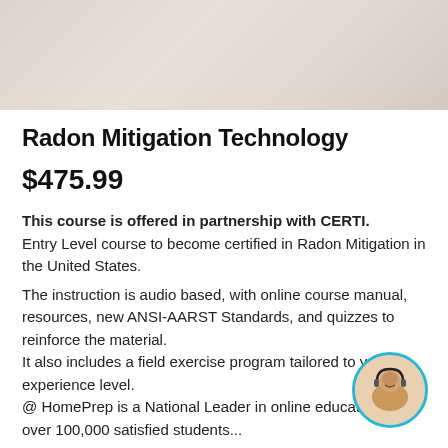[Figure (photo): Hero banner image showing a person, light beige/cream toned background]
Radon Mitigation Technology
$475.99
This course is offered in partnership with CERTI.
Entry Level course to become certified in Radon Mitigation in the United States.

The instruction is audio based, with online course manual, resources, new ANSI-AARST Standards, and quizzes to reinforce the material.
It also includes a field exercise program tailored to your experience level.
@ HomePrep is a National Leader in online education. With over 100,000 satisfied students...
[Figure (photo): Circular chat support avatar showing a woman with headset]